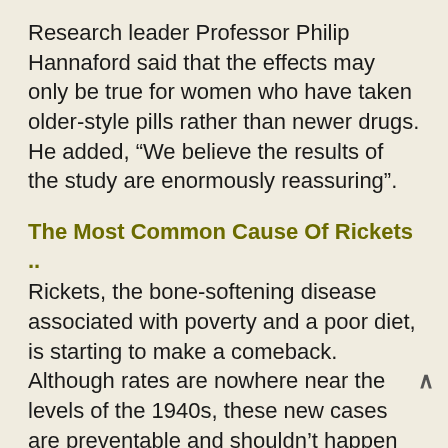Research leader Professor Philip Hannaford said that the effects may only be true for women who have taken older-style pills rather than newer drugs.
He added, “We believe the results of the study are enormously reassuring”.
The Most Common Cause Of Rickets ..
Rickets, the bone-softening disease associated with poverty and a poor diet, is starting to make a comeback. Although rates are nowhere near the levels of the 1940s, these new cases are preventable and shouldn’t happen in modern Britain with all that we now know about health and nutrition.
Growing bones need calcium to become hard and tough, and your gut needs vitamin D to